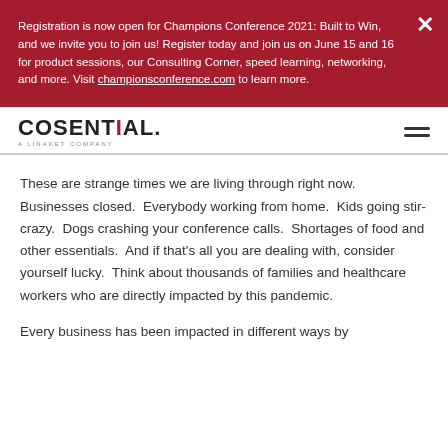Registration is now open for Champions Conference 2021: Built to Win, and we invite you to join us! Register today and join us on June 15 and 16 for product sessions, our Consulting Corner, speed learning, networking, and more. Visit championsconference.com to learn more.
[Figure (logo): Cosential logo — bold sans-serif uppercase text 'COSENTIAL.' with a red dot on the 'i', and subtitle 'A LINAKET COMPANY']
These are strange times we are living through right now. Businesses closed.  Everybody working from home.  Kids going stir-crazy.  Dogs crashing your conference calls.  Shortages of food and other essentials.  And if that's all you are dealing with, consider yourself lucky.  Think about thousands of families and healthcare workers who are directly impacted by this pandemic.
Every business has been impacted in different ways by